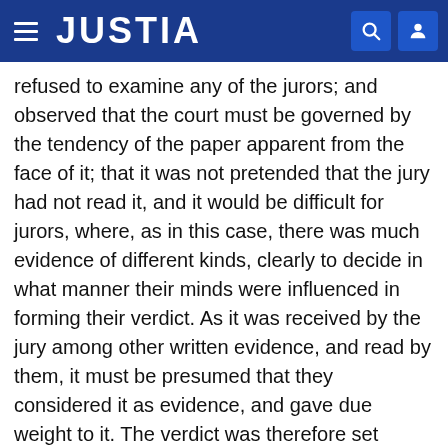JUSTIA
refused to examine any of the jurors; and observed that the court must be governed by the tendency of the paper apparent from the face of it; that it was not pretended that the jury had not read it, and it would be difficult for jurors, where, as in this case, there was much evidence of different kinds, clearly to decide in what manner their minds were influenced in forming their verdict. As it was received by the jury among other written evidence, and read by them, it must be presumed that they considered it as evidence, and gave due weight to it. The verdict was therefore set aside, and a new trial granted." So in Hix v. Drury, 5 Pick. 296 , 302, the court observed: "Where a paper, which is capable of influencing the jury on the side of the prevailing party, goes to the jury by accident, and is read by them, the verdict will be set aside, although the jury say that they were not influenced by such paper, for it is impossible